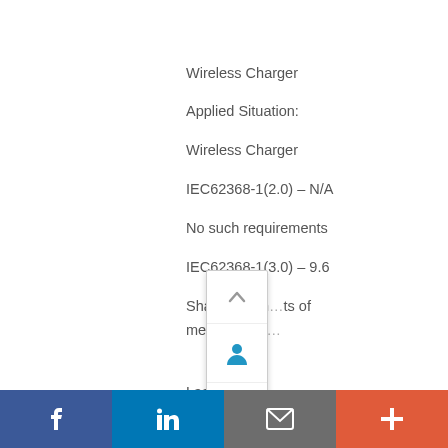Wireless Charger
Applied Situation:
Wireless Charger
IEC62368-1(2.0) – N/A
No such requirements
IEC62368-1(3.0) – 9.6
Shall pass th...ts of metallic obje...

Lasers > cla...
Applied Situ...
Laser prod...
[Figure (infographic): Floating sidebar widget with scroll-up arrow, user/person icon, chat/message bubble icon, QR code icon, and scroll-down arrow]
[Figure (infographic): Social sharing bar at bottom with Facebook (blue), LinkedIn (blue), Email (gray), and More/Plus (orange-red) buttons]